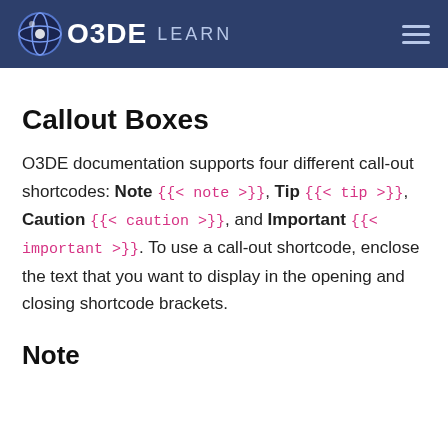O3DE LEARN
Callout Boxes
O3DE documentation supports four different call-out shortcodes: Note {{< note >}}, Tip {{< tip >}}, Caution {{< caution >}}, and Important {{< important >}}. To use a call-out shortcode, enclose the text that you want to display in the opening and closing shortcode brackets.
Note